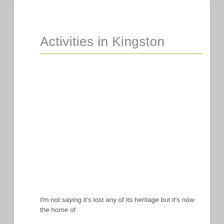Activities in Kingston
I'm not saying it's lost any of its heritage but it's now the home of